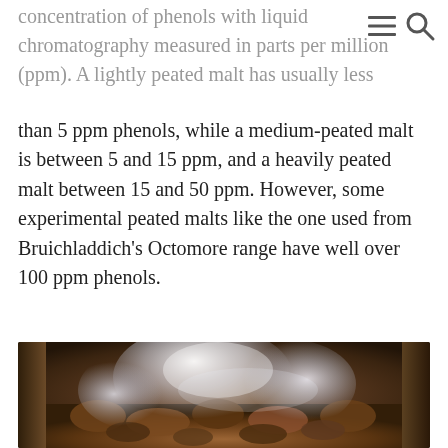concentration of phenols with liquid chromatography measured in parts per million (ppm). A lightly peated malt has usually less than 5 ppm phenols, while a medium-peated malt is between 5 and 15 ppm, and a heavily peated malt between 15 and 50 ppm. However, some experimental peated malts like the one used from Bruichladdich's Octomore range have well over 100 ppm phenols.
[Figure (photo): Photograph showing peat burning/smoking inside a kiln or malt house. Smoke fills the space above rough peat rocks, with brick walls visible on the sides.]